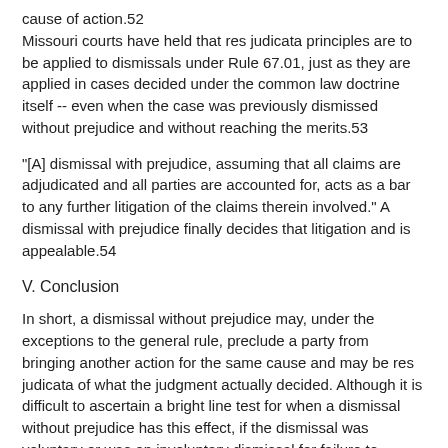cause of action.52
Missouri courts have held that res judicata principles are to be applied to dismissals under Rule 67.01, just as they are applied in cases decided under the common law doctrine itself -- even when the case was previously dismissed without prejudice and without reaching the merits.53
"[A] dismissal with prejudice, assuming that all claims are adjudicated and all parties are accounted for, acts as a bar to any further litigation of the claims therein involved." A dismissal with prejudice finally decides that litigation and is appealable.54
V. Conclusion
In short, a dismissal without prejudice may, under the exceptions to the general rule, preclude a party from bringing another action for the same cause and may be res judicata of what the judgment actually decided. Although it is difficult to ascertain a bright line test for when a dismissal without prejudice has this effect, if the dismissal was voluntary or was an involuntary dismissal for failure to prosecute, the